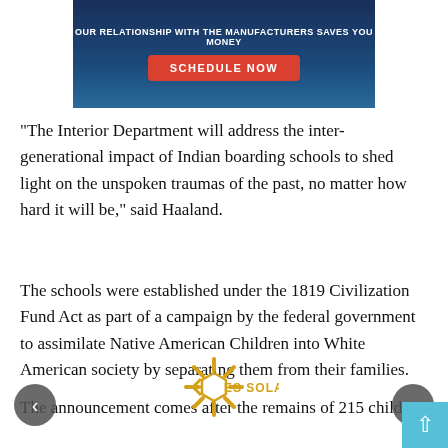[Figure (other): Advertisement banner with dark blue background showing text 'Our Relationship With the Manufacturers Saves You Money' and a red 'SCHEDULE NOW' button]
“The Interior Department will address the inter-generational impact of Indian boarding schools to shed light on the unspoken traumas of the past, no matter how hard it will be,” said Haaland.
The schools were established under the 1819 Civilization Fund Act as part of a campaign by the federal government to assimilate Native American Children into White American society by separating them from their families.
The announcement comes after the remains of 215 children
[Figure (logo): ES Solar logo — a gold/yellow asterisk-style starburst icon with the text 'ES SOLAR' in gold letters]